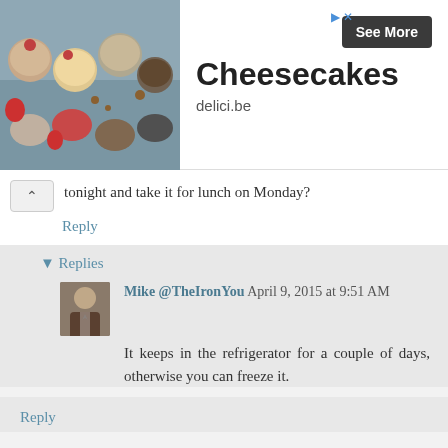[Figure (screenshot): Advertisement banner with food image (dessert cups/cheesecakes) on the left, 'Cheesecakes' title text, 'delici.be' domain, and 'See More' button]
tonight and take it for lunch on Monday?
Reply
▾ Replies
Mike @TheIronYou April 9, 2015 at 9:51 AM
It keeps in the refrigerator for a couple of days, otherwise you can freeze it.
Reply